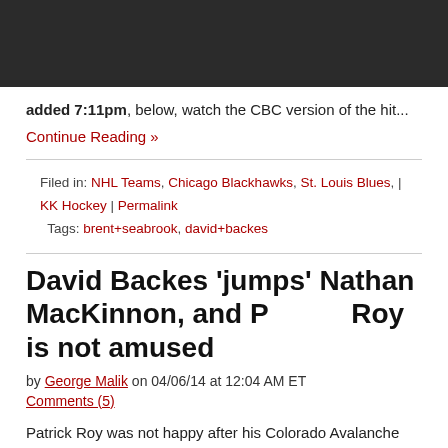[Figure (photo): Dark/black top image banner area]
added 7:11pm, below, watch the CBC version of the hit...
Continue Reading »
Filed in: NHL Teams, Chicago Blackhawks, St. Louis Blues, | KK Hockey | Permalink
Tags: brent+seabrook, david+backes
David Backes 'jumps' Nathan MacKinnon, and Patrick Roy is not amused
by George Malik on 04/06/14 at 12:04 AM ET
Comments (5)
Patrick Roy was not happy after his Colorado Avalanche defeated the St. Louis Blues Saturday--during what was part of a much larger and nastier set of scraps between teams (as Puck Daddy's Jen Neale notes)...
[Figure (photo): Dark/black bottom image area]